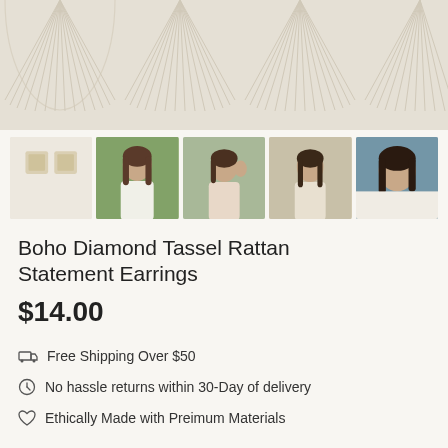[Figure (photo): Hero image of macrame/rattan fan wall decor in cream/ivory color on light background]
[Figure (photo): Row of 5 product thumbnail photos: earrings flat lay, and 4 photos of a woman wearing the boho diamond tassel rattan earrings outdoors]
Boho Diamond Tassel Rattan Statement Earrings
$14.00
Free Shipping Over $50
No hassle returns within 30-Day of delivery
Ethically Made with Preimum Materials